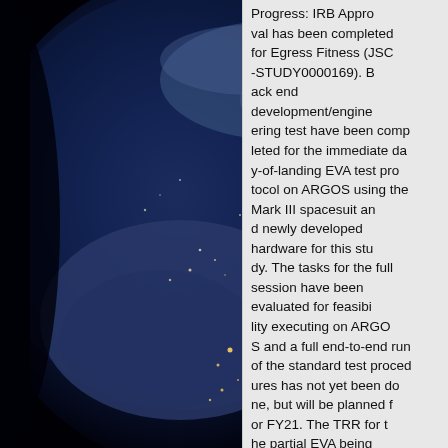[Figure (photo): Photograph of Earth from space at night, showing city lights scattered across the dark side of the globe with blue and white cloud patterns visible.]
Progress: IRB Approval has been completed for Egress Fitness (JSC-STUDY0000169). Back end development/engineering test have been completed for the immediate day-of-landing EVA test protocol on ARGOS using the Mark III spacesuit and newly developed hardware for this study. The tasks for the full session have been evaluated for feasibility executing on ARGOS and a full end-to-end run of the standard test procedures has not yet been done, but will be planned for FY21. The TRR for the partial EVA being performed in Pilot Egress Fitness study is scheduled for late December or the week of January 202